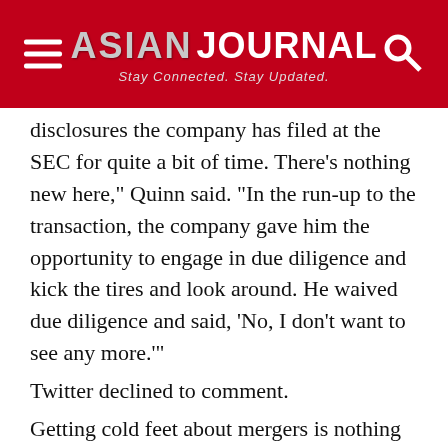ASIAN JOURNAL — Stay Connected. Stay Updated.
disclosures the company has filed at the SEC for quite a bit of time. There's nothing new here," Quinn said. "In the run-up to the transaction, the company gave him the opportunity to engage in due diligence and kick the tires and look around. He waived due diligence and said, 'No, I don't want to see any more.'"
Twitter declined to comment.
Getting cold feet about mergers is nothing new. It sometimes leads prospective buyers to look for changed conditions that can get them out of a deal or offering price.
It was the COVID-19 pandemic, in part, that led French luxury powerhouse LVMH, the parent company of Louis Vuitton and other apparel and wine brands, to say it was abandoning a planned takeover of U.S. jeweler Tiffany & Co.